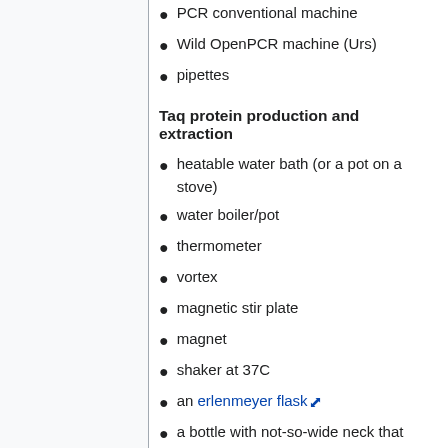PCR conventional machine
Wild OpenPCR machine (Urs)
pipettes
Taq protein production and extraction
heatable water bath (or a pot on a stove)
water boiler/pot
thermometer
vortex
magnetic stir plate
magnet
shaker at 37C
an erlenmeyer flask
a bottle with not-so-wide neck that can resist pressure cooking
bunsen burner/ spirit lamp (for bench sterile technique)
pressure cooker (for media